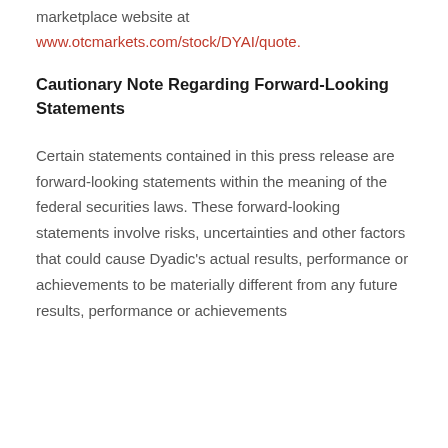marketplace website at www.otcmarkets.com/stock/DYAI/quote.
Cautionary Note Regarding Forward-Looking Statements
Certain statements contained in this press release are forward-looking statements within the meaning of the federal securities laws. These forward-looking statements involve risks, uncertainties and other factors that could cause Dyadic’s actual results, performance or achievements to be materially different from any future results, performance or achievements